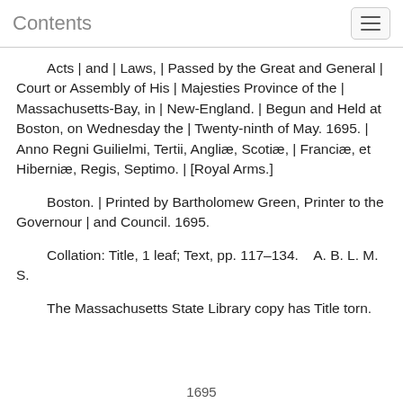Contents
Acts | and | Laws, | Passed by the Great and General | Court or Assembly of His | Majesties Province of the | Massachusetts-Bay, in | New-England. | Begun and Held at Boston, on Wednesday the | Twenty-ninth of May. 1695. | Anno Regni Guilielmi, Tertii, Angliæ, Scotiæ, | Franciæ, et Hiberniæ, Regis, Septimo. | [Royal Arms.]
Boston. | Printed by Bartholomew Green, Printer to the Governour | and Council. 1695.
Collation: Title, 1 leaf; Text, pp. 117–134.    A. B. L. M. S.
The Massachusetts State Library copy has Title torn.
1695